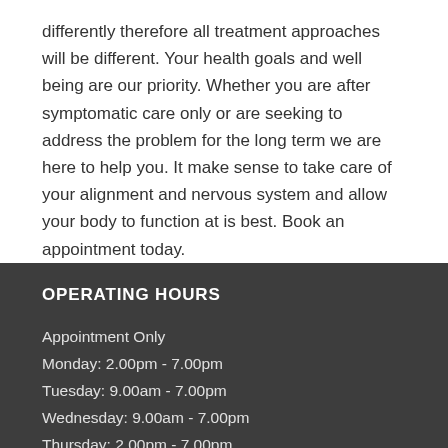differently therefore all treatment approaches will be different. Your health goals and well being are our priority. Whether you are after symptomatic care only or are seeking to address the problem for the long term we are here to help you. It make sense to take care of your alignment and nervous system and allow your body to function at is best. Book an appointment today.
OPERATING HOURS
Appointment Only
Monday:  2.00pm - 7.00pm
Tuesday: 9.00am - 7.00pm
Wednesday: 9.00am - 7.00pm
Thursday: 2.00pm - 7.00pm
Friday:  9.00am - 3.00pm